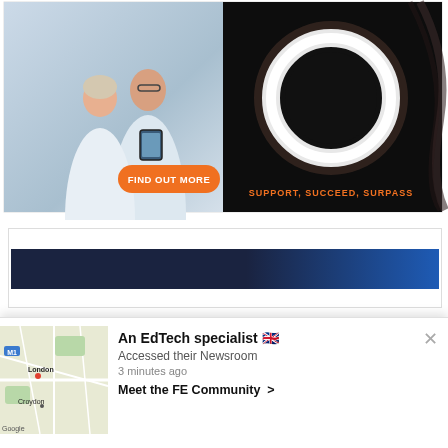[Figure (photo): Advertisement banner split into two halves: left side shows two people in white lab coats looking at a tablet in a laboratory setting with an orange 'FIND OUT MORE' button; right side shows a glowing white ring on a dark/black background with orange text 'SUPPORT, SUCCEED, SURPASS']
[Figure (screenshot): Partial view of a webpage showing a dark navy-to-blue gradient header bar]
We use cookies on our website to give you the most relevant experience by remembering your preferences and repeat visits. By clicking “Accept”, you consent to the use of ALL the cookies. However you may visit Cookie...
[Figure (infographic): Notification popup showing a Google Maps thumbnail of London/Croydon area with an 'An EdTech specialist' notification with UK flag emoji, 'Accessed their Newsroom', '3 minutes ago', and 'Meet the FE Community >' link]